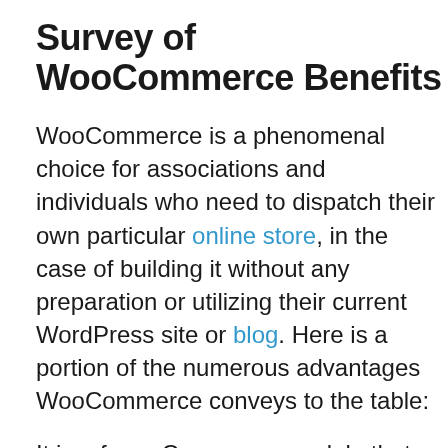Survey of WooCommerce Benefits
WooCommerce is a phenomenal choice for associations and individuals who need to dispatch their own particular online store, in the case of building it without any preparation or utilizing their current WordPress site or blog. Here is a portion of the numerous advantages WooCommerce conveys to the table:
It is a free eCommerce module that accompanies a strong arrangement of instruments and highlights that you have to begin.